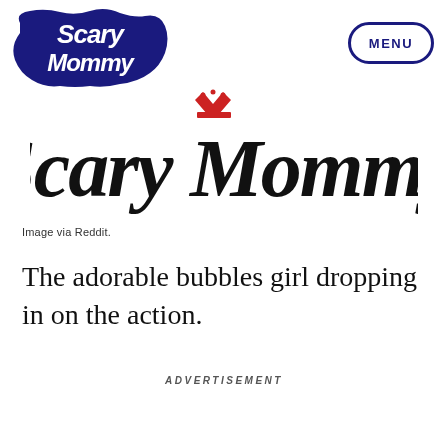[Figure (logo): Scary Mommy logo top-left: white script text on dark navy cloud/speech-bubble shape]
[Figure (logo): MENU button top-right: navy oval border with MENU text in bold navy caps]
[Figure (logo): Large Scary Mommy logotype centered: black cursive script with red crown above letter i]
Image via Reddit.
The adorable bubbles girl dropping in on the action.
ADVERTISEMENT